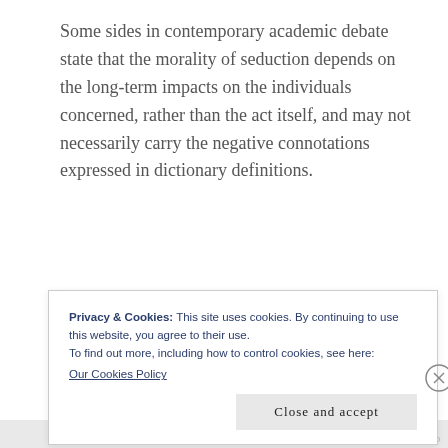Some sides in contemporary academic debate state that the morality of seduction depends on the long-term impacts on the individuals concerned, rather than the act itself, and may not necessarily carry the negative connotations expressed in dictionary definitions.
[Figure (illustration): Partial view of red-colored decorative illustration, partially obscured by cookie consent dialog]
Privacy & Cookies: This site uses cookies. By continuing to use this website, you agree to their use.
To find out more, including how to control cookies, see here:
Our Cookies Policy
Close and accept